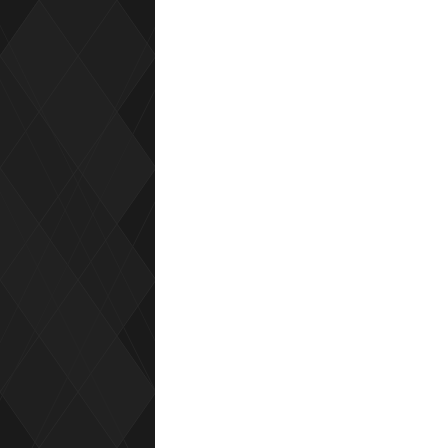serving Krishna.
But there is no killing in the spiritual world. There is no birth and no death. There is no anxiety. No animals that kill other animals.
Yes. We can take the form of birds or trees or grass in the spiritual world.
But the understanding of the spritual world has to be revealed to us by